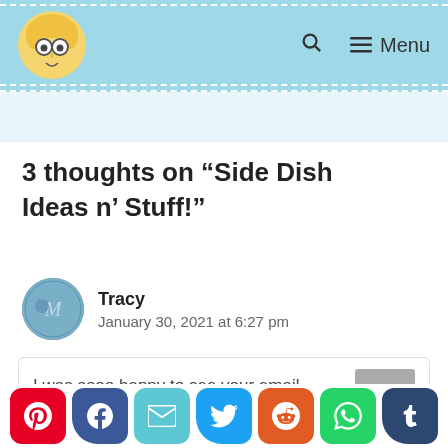Logo | Search | Menu
3 thoughts on “Side Dish Ideas n’ Stuff!”
Tracy
January 30, 2021 at 6:27 pm
I was sooo happy to see your email